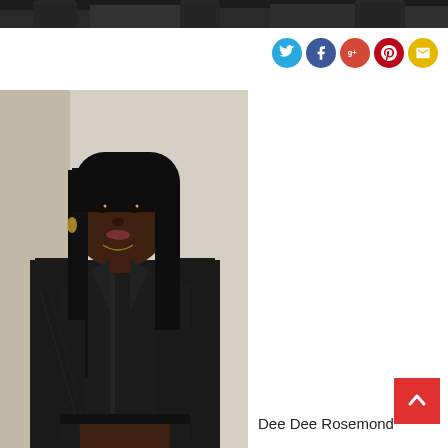[Figure (photo): Top cropped photo strip showing partial figures in dark clothing against dark background]
[Figure (infographic): Row of social media icon circles: Twitter (blue), Facebook (dark blue), Google+ (red), Pinterest (dark red), Email (yellow)]
[Figure (photo): Portrait photo of Dee Dee Rosemond, a young Black woman with long straight black hair, wearing a black leather jacket, posing with hand near chin against a light background]
Dee Dee Rosemond
[Figure (other): Red back-to-top button with upward chevron arrow in bottom right corner]